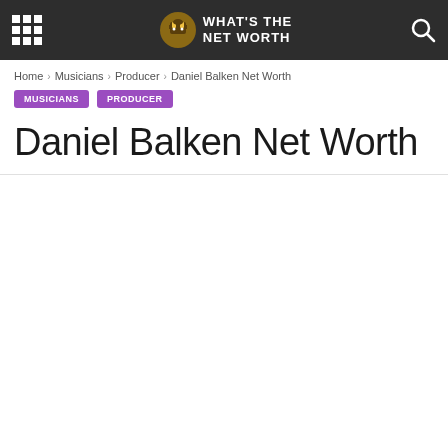What's The Net Worth
Home › Musicians › Producer › Daniel Balken Net Worth
MUSICIANS  PRODUCER
Daniel Balken Net Worth